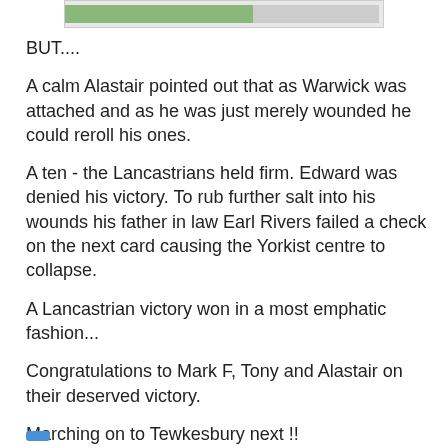[Figure (photo): Partial banner/thumbnail image at the top of the blog post]
BUT....
A calm Alastair pointed out that as Warwick was attached and as he was just merely wounded he could reroll his ones.
A ten - the Lancastrians held firm. Edward was denied his victory. To rub further salt into his wounds his father in law Earl Rivers failed a check on the next card causing the Yorkist centre to collapse.
A Lancastrian victory won in a most emphatic fashion...
Congratulations to Mark F, Tony and Alastair on their deserved victory.
Marching on to Tewkesbury next !!
Eric the Shed at 17:44   8 comments: